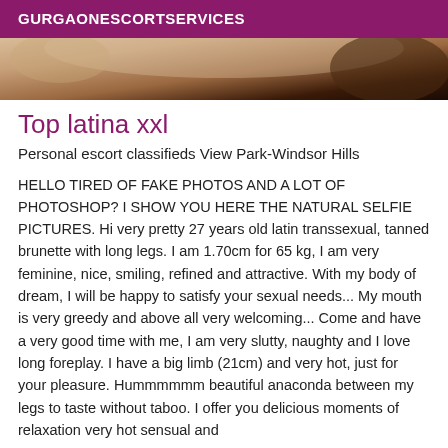GURGAONESCORTSERVICES
[Figure (photo): Close-up photo of a person, partially cropped, showing skin tones and dark hair]
Top latina xxl
Personal escort classifieds View Park-Windsor Hills
HELLO TIRED OF FAKE PHOTOS AND A LOT OF PHOTOSHOP? I SHOW YOU HERE THE NATURAL SELFIE PICTURES. Hi very pretty 27 years old latin transsexual, tanned brunette with long legs. I am 1.70cm for 65 kg, I am very feminine, nice, smiling, refined and attractive. With my body of dream, I will be happy to satisfy your sexual needs... My mouth is very greedy and above all very welcoming... Come and have a very good time with me, I am very slutty, naughty and I love long foreplay. I have a big limb (21cm) and very hot, just for your pleasure. Hummmmmm beautiful anaconda between my legs to taste without taboo. I offer you delicious moments of relaxation very hot sensual and